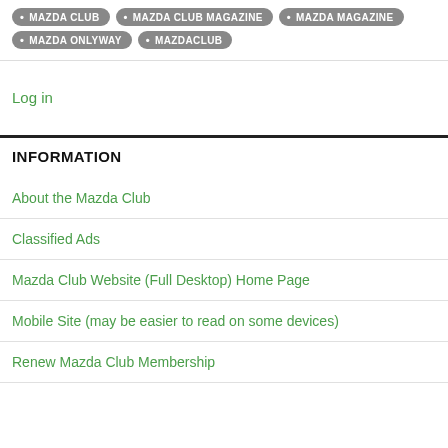MAZDA CLUB
MAZDA CLUB MAGAZINE
MAZDA MAGAZINE
MAZDA ONLYWAY
MAZDACLUB
Log in
INFORMATION
About the Mazda Club
Classified Ads
Mazda Club Website (Full Desktop) Home Page
Mobile Site (may be easier to read on some devices)
Renew Mazda Club Membership